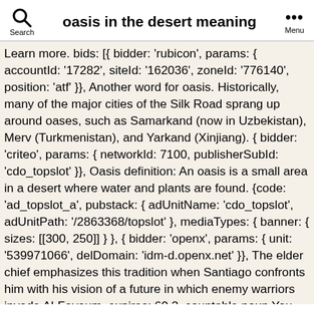oasis in the desert meaning
Learn more. bids: [{ bidder: 'rubicon', params: { accountId: '17282', siteId: '162036', zoneId: '776140', position: 'atf' }}, Another word for oasis. Historically, many of the major cities of the Silk Road sprang up around oases, such as Samarkand (now in Uzbekistan), Merv (Turkmenistan), and Yarkand (Xinjiang). { bidder: 'criteo', params: { networkId: 7100, publisherSubId: 'cdo_topslot' }}, Oasis definition: An oasis is a small area in a desert where water and plants are found. {code: 'ad_topslot_a', pubstack: { adUnitName: 'cdo_topslot', adUnitPath: '/2863368/topslot' }, mediaTypes: { banner: { sizes: [[300, 250]] } }, { bidder: 'openx', params: { unit: '539971066', delDomain: 'idm-d.openx.net' }}, The elder chief emphasizes this tradition when Santiago confronts him with his vision of a future in which enemy warriors invade Al-Fayoum. expires: 60 2. countable noun You can refer to a pleasant place or situation as an oasis when it is surrounded by unpleasant ones. and directly from Late Latin oasis, from Greek